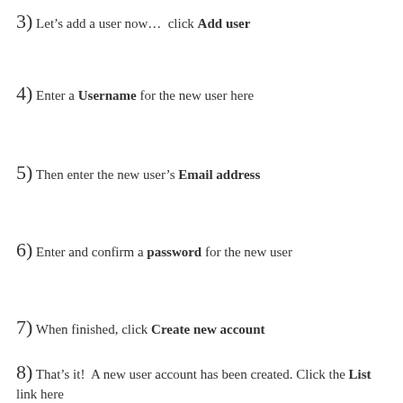3) Let's add a user now… click Add user
4) Enter a Username for the new user here
5) Then enter the new user's Email address
6) Enter and confirm a password for the new user
7) When finished, click Create new account
8) That's it!  A new user account has been created. Click the List link here